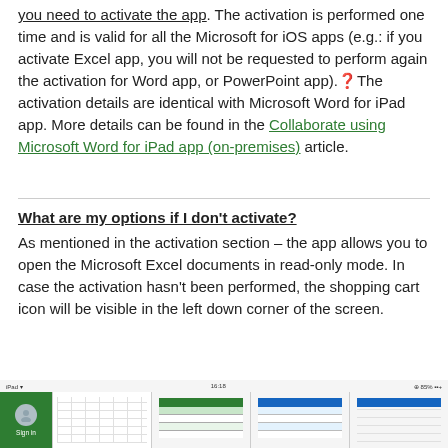you need to activate the app. The activation is performed one time and is valid for all the Microsoft for iOS apps (e.g.: if you activate Excel app, you will not be requested to perform again the activation for Word app, or PowerPoint app). The activation details are identical with Microsoft Word for iPad app. More details can be found in the Collaborate using Microsoft Word for iPad app (on-premises) article.
What are my options if I don't activate?
As mentioned in the activation section – the app allows you to open the Microsoft Excel documents in read-only mode. In case the activation hasn't been performed, the shopping cart icon will be visible in the left down corner of the screen.
[Figure (screenshot): Screenshot of Microsoft Excel for iOS showing sign-in panel on left and spreadsheet views]